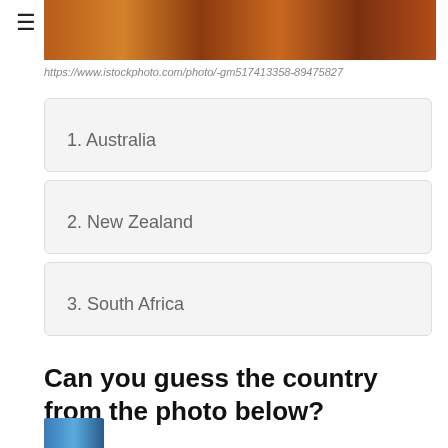≡
[Figure (photo): Partial photo strip showing red/orange rocky Australian landscape, cropped at top]
https://www.istockphoto.com/photo/-gm517413358-89475827
1. Australia
2. New Zealand
3. South Africa
Can you guess the country from the photo below?
[Figure (photo): Bottom edge of next question photo, partially visible, showing blue sky/water tones]